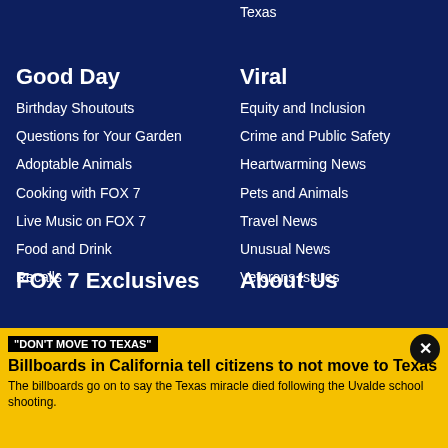Texas
Good Day
Birthday Shoutouts
Questions for Your Garden
Adoptable Animals
Cooking with FOX 7
Live Music on FOX 7
Food and Drink
Recalls
Viral
Equity and Inclusion
Crime and Public Safety
Heartwarming News
Pets and Animals
Travel News
Unusual News
Veterans Issues
FOX 7 Exclusives
About Us
"DON'T MOVE TO TEXAS"
Billboards in California tell citizens to not move to Texas
The billboards go on to say the Texas miracle died following the Uvalde school shooting.